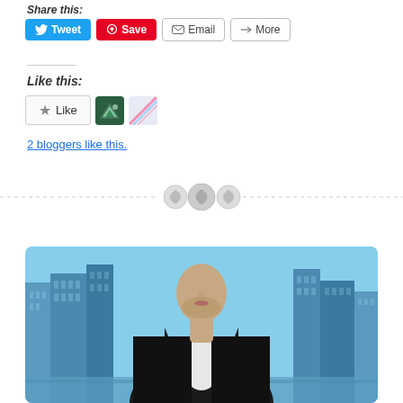Share this:
[Figure (screenshot): Social sharing buttons: Tweet (blue), Save (red/Pinterest), Email, More]
Like this:
[Figure (screenshot): WordPress Like button widget with star icon, two blogger avatars, and text '2 bloggers like this.']
2 bloggers like this.
[Figure (photo): Photo of a man in a black suit with an open white shirt, standing in front of a city skyline with tall buildings and a light blue sky.]